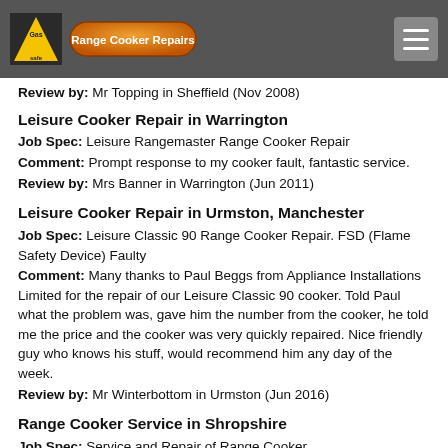Range Cooker Repairs
Review by: Mr Topping in Sheffield (Nov 2008)
Leisure Cooker Repair in Warrington
Job Spec: Leisure Rangemaster Range Cooker Repair
Comment: Prompt response to my cooker fault, fantastic service.
Review by: Mrs Banner in Warrington (Jun 2011)
Leisure Cooker Repair in Urmston, Manchester
Job Spec: Leisure Classic 90 Range Cooker Repair. FSD (Flame Safety Device) Faulty
Comment: Many thanks to Paul Beggs from Appliance Installations Limited for the repair of our Leisure Classic 90 cooker. Told Paul what the problem was, gave him the number from the cooker, he told me the price and the cooker was very quickly repaired. Nice friendly guy who knows his stuff, would recommend him any day of the week.
Review by: Mr Winterbottom in Urmston (Jun 2016)
Range Cooker Service in Shropshire
Job Spec: Service and Repair of Range Cooker
Comment: Thanks for your excellent service! I highly recommend Range Cooker Services. When making a booking the office called me back promptly and were very